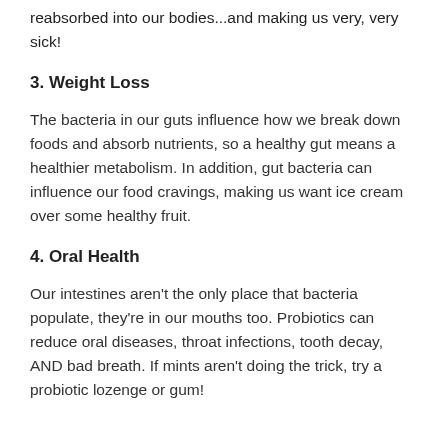reabsorbed into our bodies...and making us very, very sick!
3. Weight Loss
The bacteria in our guts influence how we break down foods and absorb nutrients, so a healthy gut means a healthier metabolism. In addition, gut bacteria can influence our food cravings, making us want ice cream over some healthy fruit.
4. Oral Health
Our intestines aren't the only place that bacteria populate, they're in our mouths too. Probiotics can reduce oral diseases, throat infections, tooth decay, AND bad breath. If mints aren't doing the trick, try a probiotic lozenge or gum!